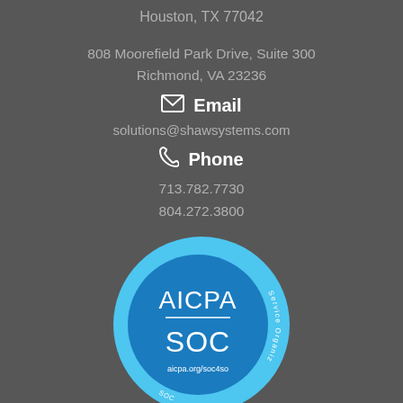Houston, TX 77042
808 Moorefield Park Drive, Suite 300
Richmond, VA 23236
Email
solutions@shawsystems.com
Phone
713.782.7730
804.272.3800
[Figure (logo): AICPA SOC badge with text 'aicpa.org/soc4so' and 'Service Organizations', circular blue badge]